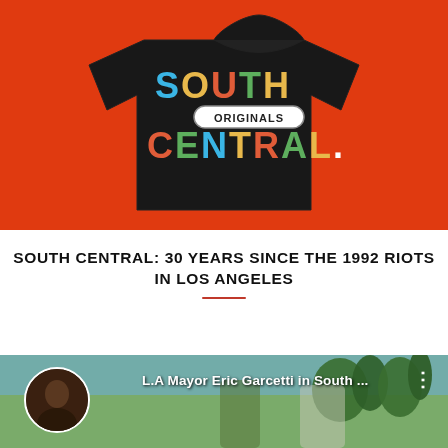[Figure (photo): Black t-shirt with 'SOUTH ORIGINALS CENTRAL.' text in multicolor letters on an orange-red background]
SOUTH CENTRAL: 30 YEARS SINCE THE 1992 RIOTS IN LOS ANGELES
[Figure (screenshot): Video thumbnail showing L.A Mayor Eric Garcetti in South ... with people and palm trees in the background, with a three-dot menu icon]